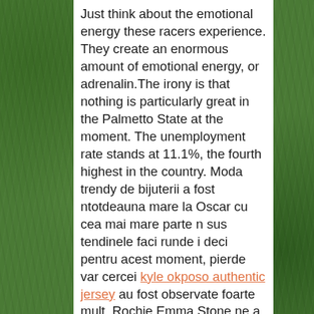Just think about the emotional energy these racers experience. They create an enormous amount of emotional energy, or adrenalin.The irony is that nothing is particularly great in the Palmetto State at the moment. The unemployment rate stands at 11.1%, the fourth highest in the country. Moda trendy de bijuterii a fost ntotdeauna mare la Oscar cu cea mai mare parte n sus tendinele faci runde i deci pentru acest moment, pierde var cercei kyle okposo authentic jersey au fost observate foarte mult. Rochie Emma Stone ne a dat aur franjuri visele i ne am dorit att ea va nvrti n jurul a face o intrare dramatica sau cam asa ceva.Exhibits Exhibits in a non profit business plan might include short bios on the management, board of directors and advisory